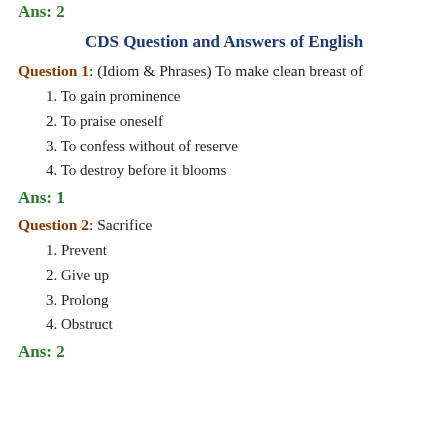Ans: 2
CDS Question and Answers of English
Question 1: (Idiom & Phrases) To make clean breast of
1. To gain prominence
2. To praise oneself
3. To confess without of reserve
4. To destroy before it blooms
Ans: 1
Question 2: Sacrifice
1. Prevent
2. Give up
3. Prolong
4. Obstruct
Ans: 2